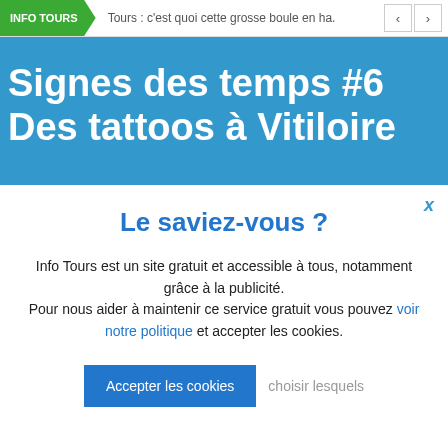INFO TOURS | Tours : c'est quoi cette grosse boule en ha.
Signes des temps #6 Des tattoos à Vitiloire
Le saviez-vous ?
Info Tours est un site gratuit et accessible à tous, notamment grâce à la publicité.
Pour nous aider à maintenir ce service gratuit vous pouvez voir notre politique et accepter les cookies.
Accepter les cookies   choisir lesquels